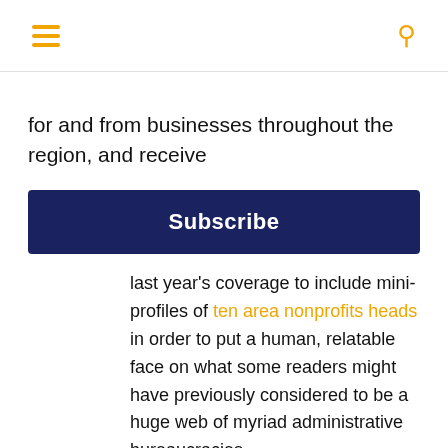[hamburger menu icon] [search icon]
for and from businesses throughout the region, and receive
[Figure (other): Subscribe button — dark navy blue rectangular button with white bold text 'Subscribe']
last year's coverage to include mini-profiles of ten area nonprofits heads in order to put a human, relatable face on what some readers might have previously considered to be a huge web of myriad administrative bureaucracies.

See, these are organizations operated by people and for people. As one of our respondents astutely notes, “Staff in nonprofit settings are usually motivated by passion rather than a paycheck.”